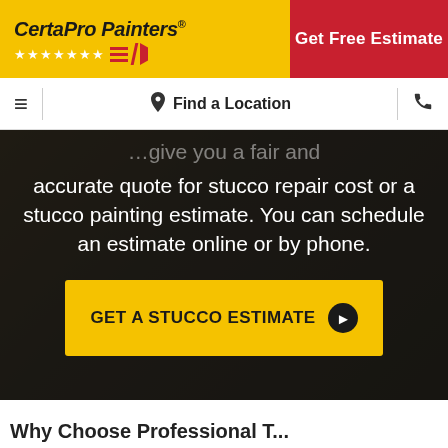[Figure (logo): CertaPro Painters logo with yellow background, stars, and red stripe symbol]
Get Free Estimate
≡  Find a Location  📞
accurate quote for stucco repair cost or a stucco painting estimate. You can schedule an estimate online or by phone.
GET A STUCCO ESTIMATE ▶
Why Choose Professional T...